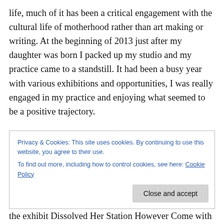life, much of it has been a critical engagement with the cultural life of motherhood rather than art making or writing. At the beginning of 2013 just after my daughter was born I packed up my studio and my practice came to a standstill. It had been a busy year with various exhibitions and opportunities, I was really engaged in my practice and enjoying what seemed to be a positive trajectory.
A few weeks ago I connected with an organisation called Enemies of Good Art (no less), who “seek…to investigate
Privacy & Cookies: This site uses cookies. By continuing to use this website, you agree to their use.
To find out more, including how to control cookies, see here: Cookie Policy
Close and accept
the exhibit Dissolved Her Station However Come with Floire